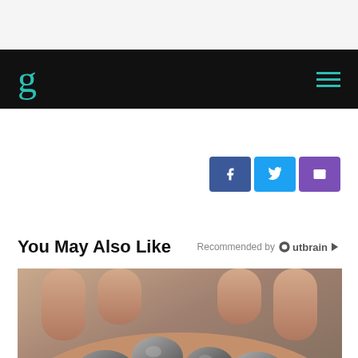g (Gizmodo logo) — navigation bar with hamburger menu
[Figure (photo): Social share buttons: Facebook (blue), Twitter (light blue), and email/share (purple)]
You May Also Like
Recommended by Outbrain
[Figure (photo): Close-up photograph of multiple dark grey kidney stones being held in a person's hand]